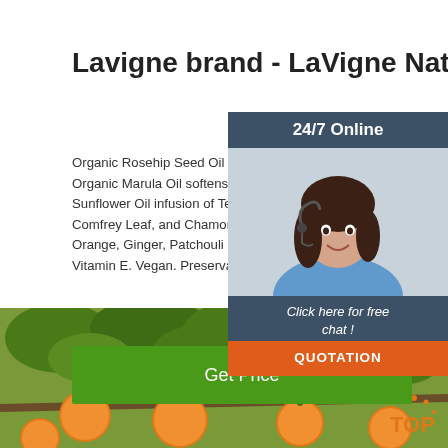Lavigne brand - LaVigne Natural Skincare
Organic Rosehip Seed Oil is rich in essential fatt... Organic Marula Oil softens, nourishes and revita... Sunflower Oil infusion of Tepezcohuite, Rosemar... Comfrey Leaf, and Chamomile Flowers. Pure es... Orange, Ginger, Patchouli and Ylang Ylang Oils. Vitamin E. Vegan. Preservative free. Plant-based...
[Figure (photo): Customer service agent with headset, smiling, with 24/7 Online header and chat/quotation panel]
[Figure (photo): Orange/citrus fruits on tree with green leaves, bottom of page]